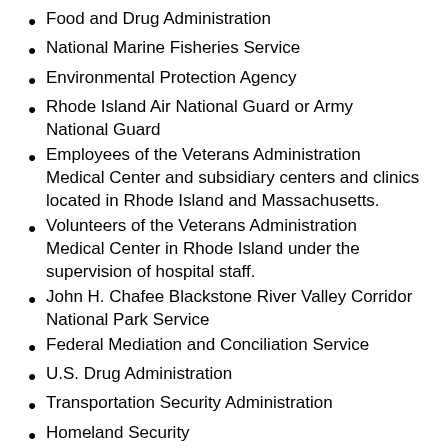Food and Drug Administration
National Marine Fisheries Service
Environmental Protection Agency
Rhode Island Air National Guard or Army National Guard
Employees of the Veterans Administration Medical Center and subsidiary centers and clinics located in Rhode Island and Massachusetts.
Volunteers of the Veterans Administration Medical Center in Rhode Island under the supervision of hospital staff.
John H. Chafee Blackstone River Valley Corridor National Park Service
Federal Mediation and Conciliation Service
U.S. Drug Administration
Transportation Security Administration
Homeland Security
If you are an employee of the United States